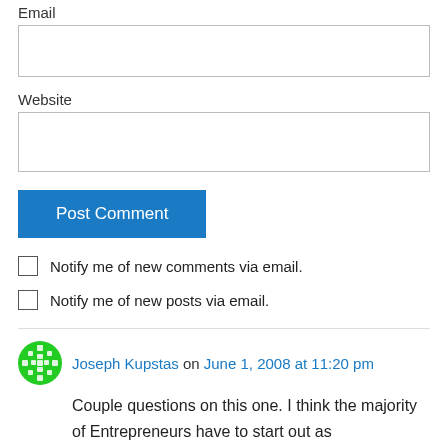Email
Website
Post Comment
Notify me of new comments via email.
Notify me of new posts via email.
Joseph Kupstas on June 1, 2008 at 11:20 pm
Couple questions on this one. I think the majority of Entrepreneurs have to start out as